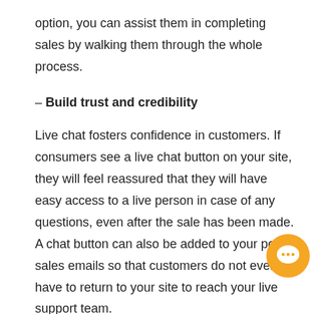option, you can assist them in completing sales by walking them through the whole process.
– Build trust and credibility
Live chat fosters confidence in customers. If consumers see a live chat button on your site, they will feel reassured that they will have easy access to a live person in case of any questions, even after the sale has been made. A chat button can also be added to your post-sales emails so that customers do not even have to return to your site to reach your live support team.
– Cut down time and support costs